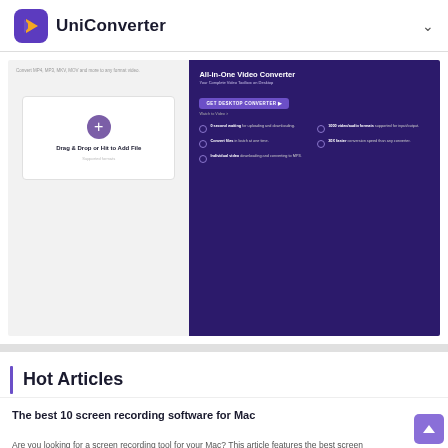UniConverter
[Figure (screenshot): UniConverter web app screenshot showing a drag-and-drop file upload interface on the left with a purple '+' circle and 'Drag & Drop or Hit to Add File' text, and a dark purple promotional panel on the right showing 'All-in-One Video Converter' with features like 1000 video/audio formats, no second waiting, convert files in batches, 30X faster conversion, individual video downloading and converting to MP3, and a 'GET DESKTOP CONVERTER' button.]
Hot Articles
The best 10 screen recording software for Mac
Are you looking for a screen recording tool for your Mac? This article features the best screen recording software for Mac that you can use to record with ease.